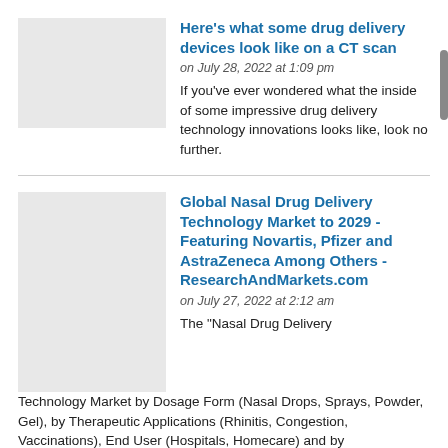Here's what some drug delivery devices look like on a CT scan
on July 28, 2022 at 1:09 pm
If you've ever wondered what the inside of some impressive drug delivery technology innovations looks like, look no further.
Global Nasal Drug Delivery Technology Market to 2029 - Featuring Novartis, Pfizer and AstraZeneca Among Others - ResearchAndMarkets.com
on July 27, 2022 at 2:12 am
The "Nasal Drug Delivery Technology Market by Dosage Form (Nasal Drops, Sprays, Powder, Gel), by Therapeutic Applications (Rhinitis, Congestion, Vaccinations), End User (Hospitals, Homecare) and by